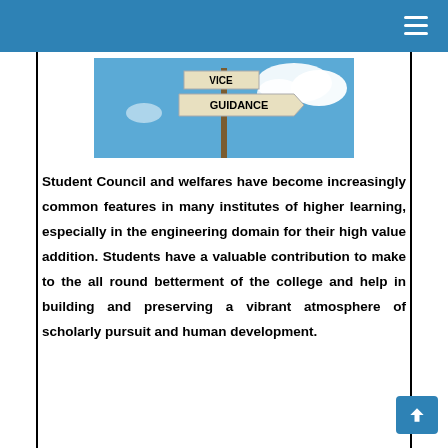[Figure (photo): A signpost with two signs against a blue sky with clouds. The top sign reads 'VICE' and the bottom sign reads 'GUIDANCE'.]
Student Council and welfares have become increasingly common features in many institutes of higher learning, especially in the engineering domain for their high value addition. Students have a valuable contribution to make to the all round betterment of the college and help in building and preserving a vibrant atmosphere of scholarly pursuit and human development.